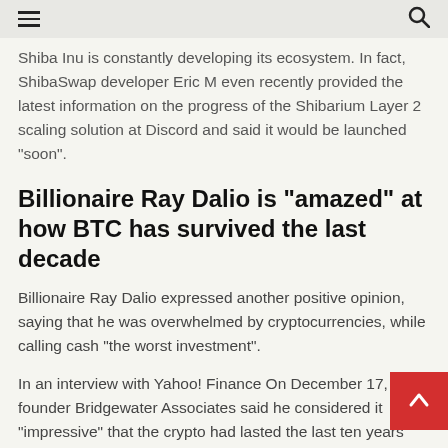Shiba Inu is constantly developing its ecosystem. In fact, ShibaSwap developer Eric M even recently provided the latest information on the progress of the Shibarium Layer 2 scaling solution at Discord and said it would be launched "soon".
Billionaire Ray Dalio is "amazed" at how BTC has survived the last decade
Billionaire Ray Dalio expressed another positive opinion, saying that he was overwhelmed by cryptocurrencies, while calling cash "the worst investment".
In an interview with Yahoo! Finance On December 17, founder Bridgewater Associates said he considered it "impressive" that the crypto had lasted the last ten years without